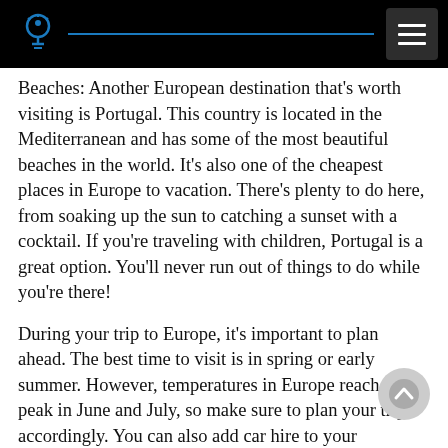Beaches: Another European destination that's worth visiting is Portugal. This country is located in the Mediterranean and has some of the most beautiful beaches in the world. It's also one of the cheapest places in Europe to vacation. There's plenty to do here, from soaking up the sun to catching a sunset with a cocktail. If you're traveling with children, Portugal is a great option. You'll never run out of things to do while you're there!
During your trip to Europe, it's important to plan ahead. The best time to visit is in spring or early summer. However, temperatures in Europe reach their peak in June and July, so make sure to plan your trip accordingly. You can also add car hire to your European holiday packages if you plan to explore many different places. And don't forget to